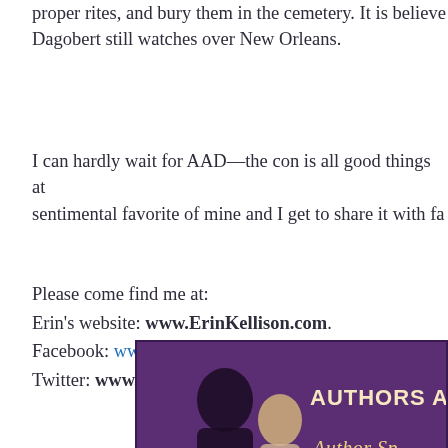somehow managed to steal the bodies away from the proper rites, and bury them in the cemetery. It is believed Dagobert still watches over New Orleans.
I can hardly wait for AAD—the con is all good things at once sentimental favorite of mine and I get to share it with fa...
Please come find me at:
Erin's website: www.ErinKellison.com.
Facebook: www.facebook.com/ErinKellisonAuthor
Twitter: www.twitter.com/EKellison
[Figure (photo): Banner image for Authors After Dark event showing a couple in a romantic scene with text 'AUTHORS AFTER' and 'Author Sp...' on a purple background]